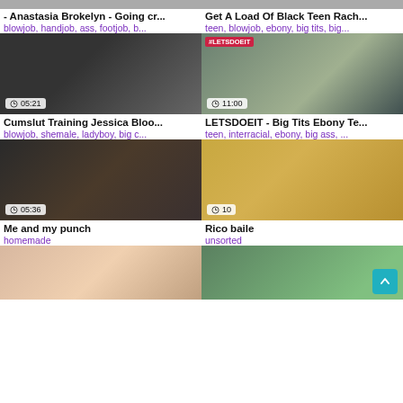[Figure (screenshot): Video thumbnail top-left with duration bar]
- Anastasia Brokelyn - Going cr...
blowjob, handjob, ass, footjob, b...
[Figure (screenshot): Video thumbnail top-right]
Get A Load Of Black Teen Rach...
teen, blowjob, ebony, big tits, big...
[Figure (screenshot): Cumslut Training video thumbnail, 05:21]
Cumslut Training Jessica Bloo...
blowjob, shemale, ladyboy, big c...
[Figure (screenshot): LETSDOEIT video thumbnail, 11:00, #LETSDOEIT badge]
LETSDOEIT - Big Tits Ebony Te...
teen, interracial, ebony, big ass, ...
[Figure (screenshot): Me and my punch video thumbnail, 05:36]
Me and my punch
homemade
[Figure (screenshot): Rico baile video thumbnail, duration 10]
Rico baile
unsorted
[Figure (screenshot): Bottom-left video thumbnail partial]
[Figure (screenshot): Bottom-right video thumbnail partial with scroll-to-top button]